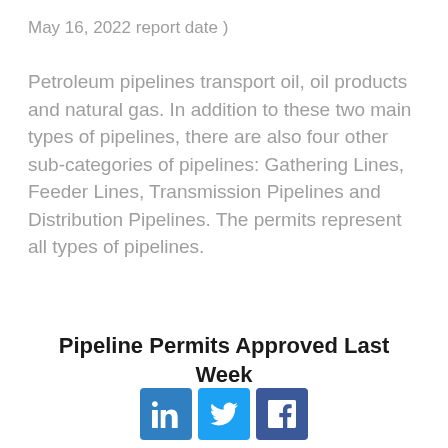May 16, 2022 report date )
Petroleum pipelines transport oil, oil products and natural gas. In addition to these two main types of pipelines, there are also four other sub-categories of pipelines: Gathering Lines, Feeder Lines, Transmission Pipelines and Distribution Pipelines. The permits represent all types of pipelines.
Pipeline Permits Approved Last Week
[Figure (infographic): Social media share buttons: LinkedIn, Twitter, Facebook]